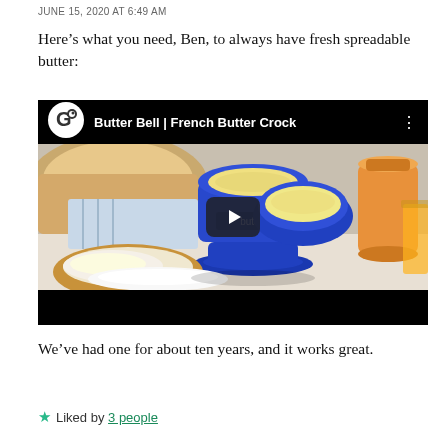JUNE 15, 2020 AT 6:49 AM
Here’s what you need, Ben, to always have fresh spreadable butter:
[Figure (screenshot): Video thumbnail for 'Butter Bell | French Butter Crock' showing a blue ceramic butter crock with butter inside, surrounded by bread, jam jar, and a glass of orange juice. A play button is centered on the image.]
We’ve had one for about ten years, and it works great.
★ Liked by 3 people